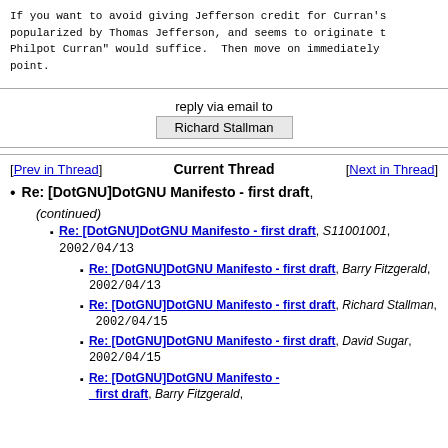If you want to avoid giving Jefferson credit for Curran's popularized by Thomas Jefferson, and seems to originate t Philpot Curran" would suffice.  Then move on immediately point.
reply via email to
Richard Stallman
[Prev in Thread]   Current Thread   [Next in Thread]
Re: [DotGNU]DotGNU Manifesto - first draft, (continued)
Re: [DotGNU]DotGNU Manifesto - first draft, S11001001, 2002/04/13
Re: [DotGNU]DotGNU Manifesto - first draft, Barry Fitzgerald, 2002/04/13
Re: [DotGNU]DotGNU Manifesto - first draft, Richard Stallman, 2002/04/15
Re: [DotGNU]DotGNU Manifesto - first draft, David Sugar, 2002/04/15
Re: [DotGNU]DotGNU Manifesto - first draft, Barry Fitzgerald